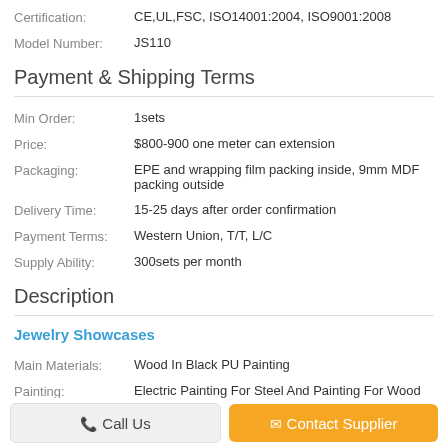Certification: CE,UL,FSC, ISO14001:2004, ISO9001:2008
Model Number: JS110
Payment & Shipping Terms
Min Order: 1sets
Price: $800-900 one meter can extension
Packaging: EPE and wrapping film packing inside, 9mm MDF packing outside
Delivery Time: 15-25 days after order confirmation
Payment Terms: Western Union, T/T, L/C
Supply Ability: 300sets per month
Description
Jewelry Showcases
Main Materials: Wood In Black PU Painting
Painting: Electric Painting For Steel And Painting For Wood
Call Us
Contact Supplier